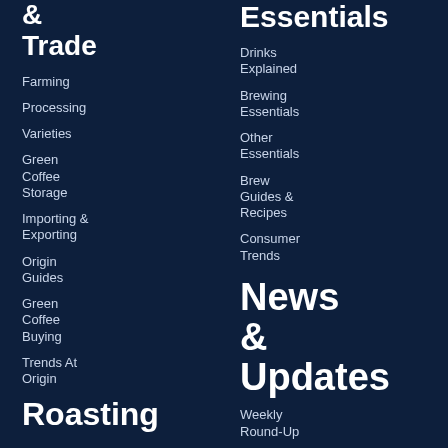& Trade
Farming
Processing
Varieties
Green Coffee Storage
Importing & Exporting
Origin Guides
Green Coffee Buying
Trends At Origin
Roasting
Essentials
Drinks Explained
Brewing Essentials
Other Essentials
Brew Guides & Recipes
Consumer Trends
News & Updates
Weekly Round-Up
News &